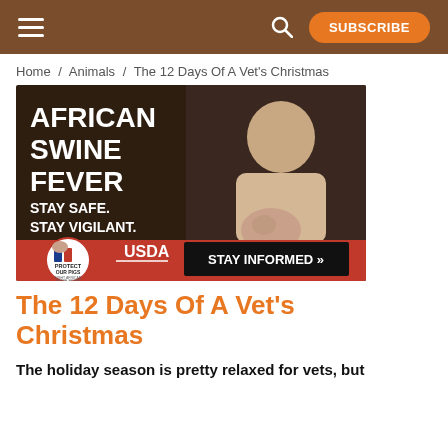SUBSCRIBE
Home / Animals / The 12 Days Of A Vet's Christmas
[Figure (photo): African Swine Fever public awareness advertisement. Dark background with bold white text reading 'AFRICAN SWINE FEVER STAY SAFE. STAY VIGILANT.' A man holds a small pig. Bottom shows 'Protect Our Pigs - Fight African Swine Fever' logo, USDA logo, and a black button reading 'STAY INFORMED >>']
The 12 Days Of A Vet's Christmas
The holiday season is pretty relaxed for vets, but